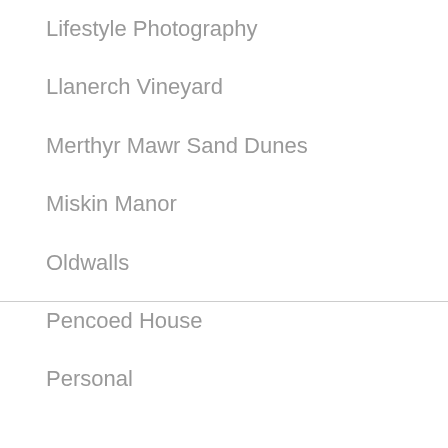Lifestyle Photography
Llanerch Vineyard
Merthyr Mawr Sand Dunes
Miskin Manor
Oldwalls
Pencoed House
Personal
We use cookies on our website to give you the most relevant experience by remembering your preferences and repeat visits. By clicking "Accept All", you consent to the use of ALL the cookies. However, you may visit "Cookie Settings" to provide a controlled consent.
Cookie Settings | Accept All